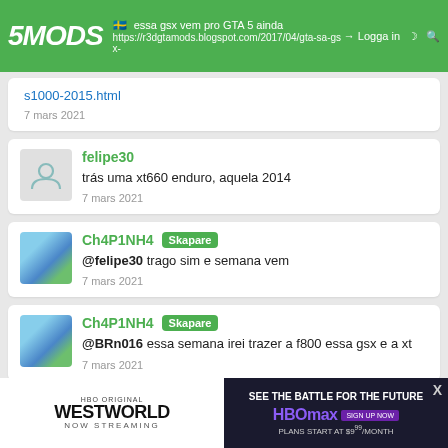5MODS | essa gsx vem pro GTA 5 ainda | https://r3dgtamods.blogspot.com/2017/04/gta-sa-gsx-s1000-2015.html | Logga in
https://r3dgtamods.blogspot.com/2017/04/gta-sa-gsx-s1000-2015.html
7 mars 2021
felipe30
trás uma xt660 enduro, aquela 2014
7 mars 2021
Ch4P1NH4 Skapare
@felipe30 trago sim e semana vem
7 mars 2021
Ch4P1NH4 Skapare
@BRn016 essa semana irei trazer a f800 essa gsx e a xt
7 mars 2021
[Figure (screenshot): HBO Original Westworld Now Streaming ad banner and HBO Max See the Battle for the Future ad]